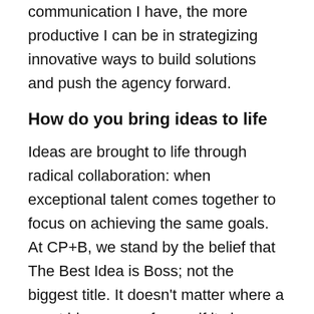communication I have, the more productive I can be in strategizing innovative ways to build solutions and push the agency forward.
How do you bring ideas to life
Ideas are brought to life through radical collaboration: when exceptional talent comes together to focus on achieving the same goals. At CP+B, we stand by the belief that The Best Idea is Boss; not the biggest title. It doesn't matter where a great idea comes from – if it changes culture and creates business momentum for our clients, we move forward with it. Whether we are collaborating across geographies or having a